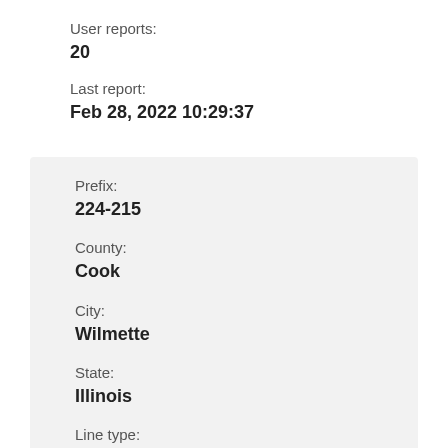User reports:
20
Last report:
Feb 28, 2022 10:29:37
Prefix:
224-215
County:
Cook
City:
Wilmette
State:
Illinois
Line type:
Landline